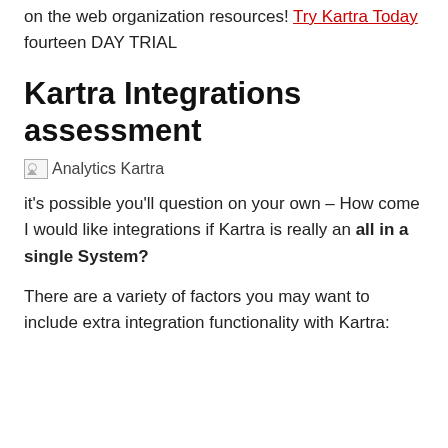on the web organization resources! Try Kartra Today fourteen DAY TRIAL
Kartra Integrations assessment
[Figure (other): Broken image placeholder labeled 'Analytics Kartra']
it's possible you'll question on your own – How come I would like integrations if Kartra is really an all in a single System?
There are a variety of factors you may want to include extra integration functionality with Kartra: